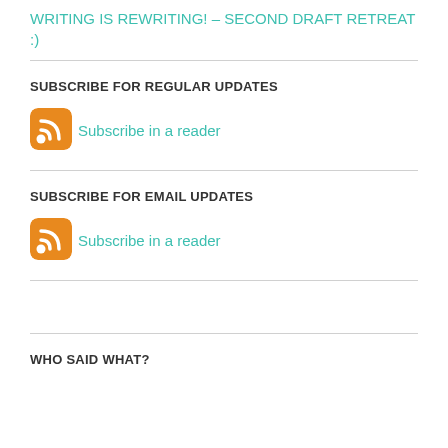WRITING IS REWRITING! – SECOND DRAFT RETREAT :)
SUBSCRIBE FOR REGULAR UPDATES
[Figure (logo): Orange RSS feed icon with white signal waves, rounded square shape]
Subscribe in a reader
SUBSCRIBE FOR EMAIL UPDATES
[Figure (logo): Orange RSS feed icon with white signal waves, rounded square shape]
Subscribe in a reader
WHO SAID WHAT?